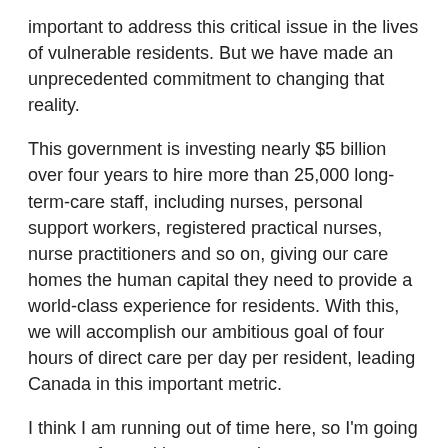important to address this critical issue in the lives of vulnerable residents. But we have made an unprecedented commitment to changing that reality.
This government is investing nearly $5 billion over four years to hire more than 25,000 long-term-care staff, including nurses, personal support workers, registered practical nurses, nurse practitioners and so on, giving our care homes the human capital they need to provide a world-class experience for residents. With this, we will accomplish our ambitious goal of four hours of direct care per day per resident, leading Canada in this important metric.
I think I am running out of time here, so I'm going to move forward in my remarks.
Mais notre gouvernement savait aussi que cet écart dans les dépenses de santé devait être immédiatement comblé. C'est pourquoi, tout au long de cette pandémie, nous